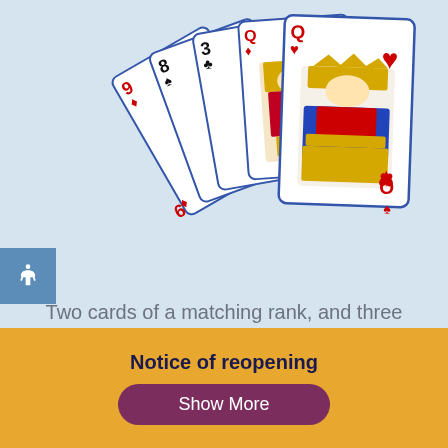[Figure (illustration): A hand of five playing cards fanned out: 9 of diamonds, 8 of spades, 3 of clubs, Queen of diamonds, and Queen of hearts (shown largest in foreground). Set against a light blue background.]
Two cards of a matching rank, and three unrelated side cards.
Notice of reopening
Show More